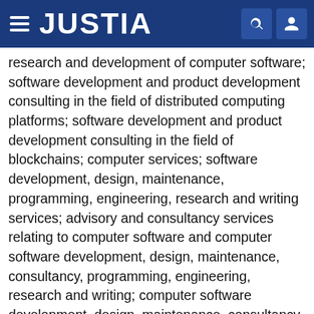JUSTIA
research and development of computer software; software development and product development consulting in the field of distributed computing platforms; software development and product development consulting in the field of blockchains; computer services; software development, design, maintenance, programming, engineering, research and writing services; advisory and consultancy services relating to computer software and computer software development, design, maintenance, consultancy, programming, engineering, research and writing; computer software development, design, maintenance, consultancy, programming, engineering, research and writing; social network software and virtual worlds software development, hosting and management; services for gathering, processing, monitoring, analysing, managing and / or reporting information